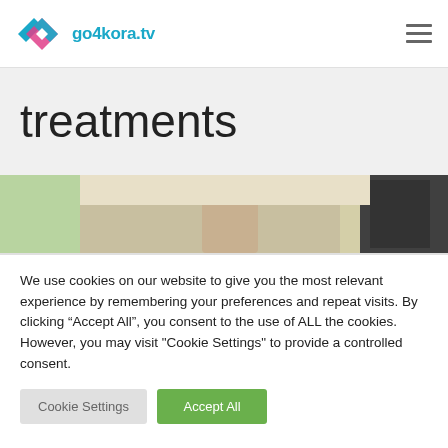go4kora.tv
treatments
[Figure (photo): Person in a laboratory or medical setting working at a bench, viewed from behind/side, with equipment visible.]
We use cookies on our website to give you the most relevant experience by remembering your preferences and repeat visits. By clicking “Accept All”, you consent to the use of ALL the cookies. However, you may visit "Cookie Settings" to provide a controlled consent.